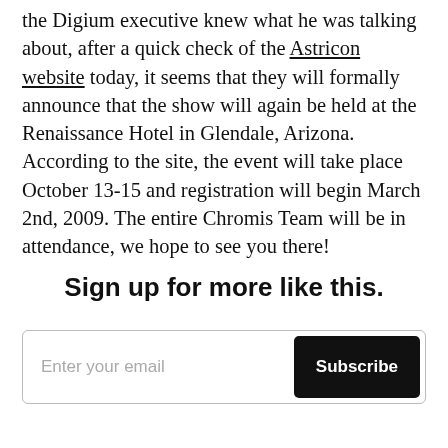the Digium executive knew what he was talking about, after a quick check of the Astricon website today, it seems that they will formally announce that the show will again be held at the Renaissance Hotel in Glendale, Arizona. According to the site, the event will take place October 13-15 and registration will begin March 2nd, 2009. The entire Chromis Team will be in attendance, we hope to see you there!
Sign up for more like this.
Enter your email [Subscribe button]